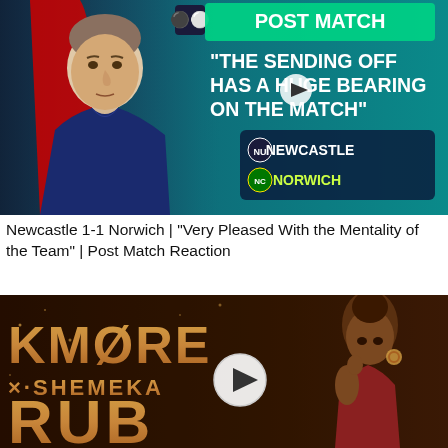[Figure (screenshot): Newcastle United post-match video thumbnail. Blue background with a man (Eddie Howe) on the left. Text reads: POST MATCH / 'THE SENDING OFF HAS A HUGE BEARING ON THE MATCH'. Newcastle vs Norwich logos shown.]
Newcastle 1-1 Norwich | "Very Pleased With the Mentality of the Team" | Post Match Reaction
[Figure (screenshot): Music video thumbnail on dark background. Text reads: KMORE x SHEMEKA / RUB. A woman posing on the right side. Play button in the center.]